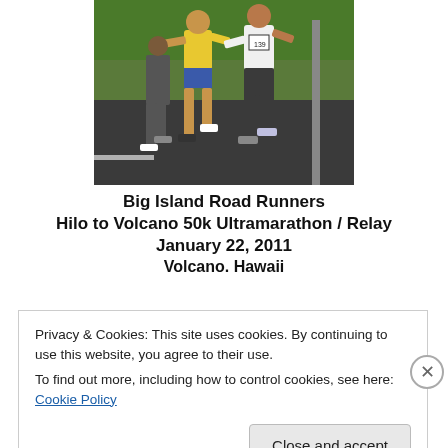[Figure (photo): Runners on a road race, including a woman in a yellow top and blue shorts and another in white with race bib #139, running on asphalt with green grass in background]
Big Island Road Runners
Hilo to Volcano 50k Ultramarathon / Relay
January 22, 2011
Volcano. Hawaii
Privacy & Cookies: This site uses cookies. By continuing to use this website, you agree to their use.
To find out more, including how to control cookies, see here: Cookie Policy